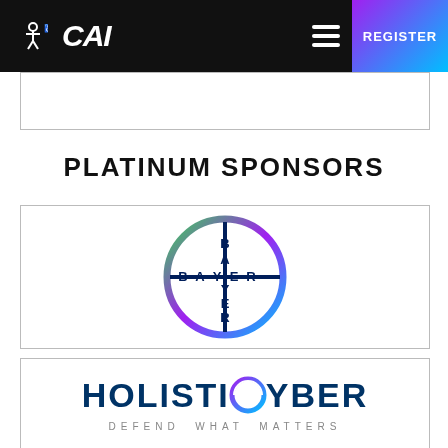CAI — REGISTER
PLATINUM SPONSORS
[Figure (logo): Bayer logo — circular cross design with BAYER text, gradient circle outline from green to cyan]
[Figure (logo): HolistiCyber logo with tagline DEFEND WHAT MATTERS]